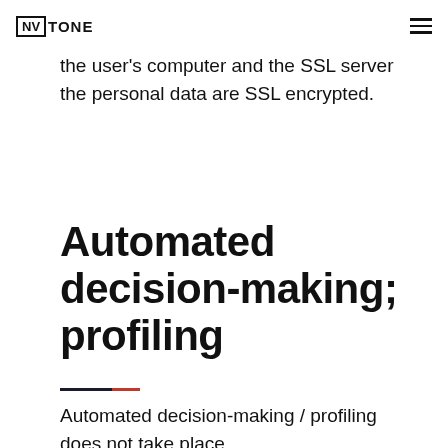NV TONE
the user's computer and the SSL server the personal data are SSL encrypted.
Automated decision-making; profiling
Automated decision-making / profiling does not take place